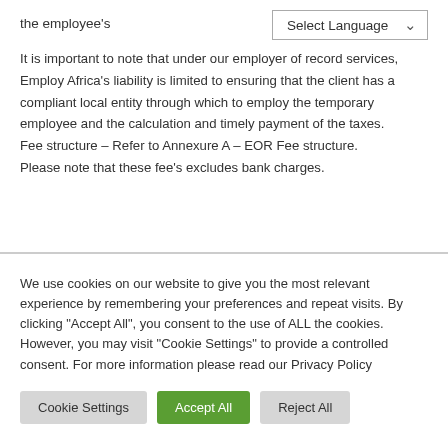the employee's
It is important to note that under our employer of record services, Employ Africa's liability is limited to ensuring that the client has a compliant local entity through which to employ the temporary employee and the calculation and timely payment of the taxes. Fee structure – Refer to Annexure A – EOR Fee structure. Please note that these fee's excludes bank charges.
We use cookies on our website to give you the most relevant experience by remembering your preferences and repeat visits. By clicking "Accept All", you consent to the use of ALL the cookies. However, you may visit "Cookie Settings" to provide a controlled consent. For more information please read our Privacy Policy